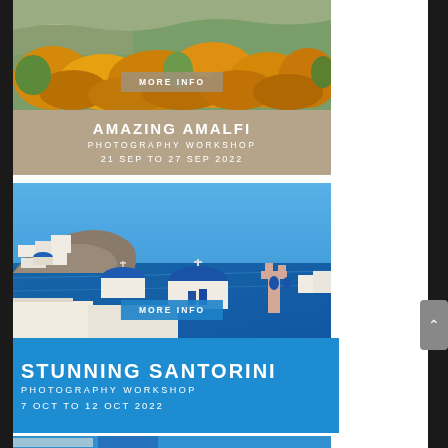[Figure (photo): Amalfi coastal landscape with autumn trees and hillside buildings — top portion of card]
MORE INFO
AMAZING AMALFI
PHOTOGRAPHY WORKSHOP
21 SEP TO 27 SEP 2022
[Figure (photo): Santorini white-washed buildings with iconic blue domes overlooking the Aegean Sea]
MORE INFO
STUNNING SANTORINI
PHOTOGRAPHY WORKSHOP
7 OCT  TO 12 OCT 2022